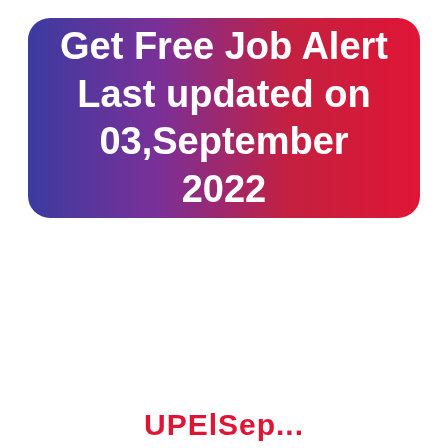Get Free Job Alert Last updated on 03,September 2022
UPELSep...